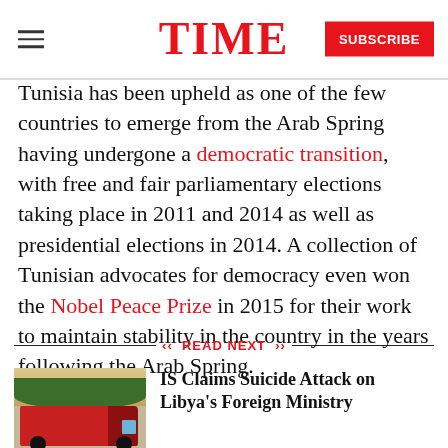TIME | SUBSCRIBE
Tunisia has been upheld as one of the few countries to emerge from the Arab Spring having undergone a democratic transition, with free and fair parliamentary elections taking place in 2011 and 2014 as well as presidential elections in 2014. A collection of Tunisian advocates for democracy even won the Nobel Peace Prize in 2015 for their work to maintain stability in the country in the years following the Arab Spring.
READ NEXT
IS Claims Suicide Attack on Libya's Foreign Ministry